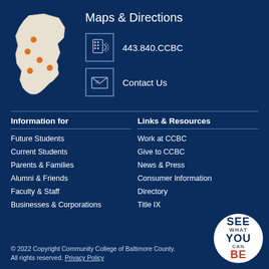Maps & Directions
443.840.CCBC
Contact Us
Information for
Future Students
Current Students
Parents & Families
Alumni & Friends
Faculty & Staff
Businesses & Corporations
Links & Resources
Work at CCBC
Give to CCBC
News & Press
Consumer Information
Directory
Title IX
© 2022 Copyright Community College of Baltimore County. All rights reserved. Privacy Policy
[Figure (map): White silhouette map of Baltimore County with orange dots marking campus locations]
[Figure (logo): SEE WHAT YOU CAN BE circular logo in white circle]